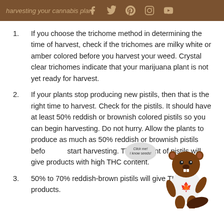harvesting your cannabis plant
If you choose the trichome method in determining the time of harvest, check if the trichomes are milky white or amber colored before you harvest your weed. Crystal clear trichomes indicate that your marijuana plant is not yet ready for harvest.
If your plants stop producing new pistils, then that is the right time to harvest. Check for the pistils. It should have at least 50% reddish or brownish colored pistils so you can begin harvesting. Do not hurry. Allow the plants to produce as much as 50% reddish or brownish pistils before you start harvesting. This amount of pistils will give products with high THC content.
50% to 70% reddish-brown pistils will give THC rich products.